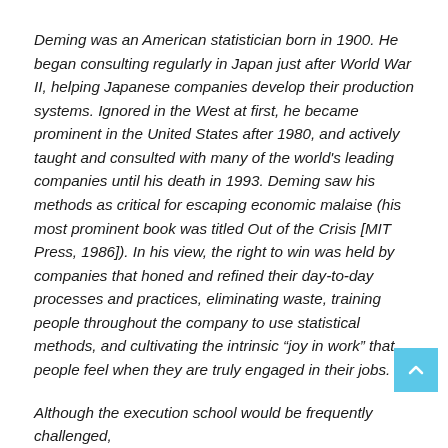Deming was an American statistician born in 1900. He began consulting regularly in Japan just after World War II, helping Japanese companies develop their production systems. Ignored in the West at first, he became prominent in the United States after 1980, and actively taught and consulted with many of the world's leading companies until his death in 1993. Deming saw his methods as critical for escaping economic malaise (his most prominent book was titled Out of the Crisis [MIT Press, 1986]). In his view, the right to win was held by companies that honed and refined their day-to-day processes and practices, eliminating waste, training people throughout the company to use statistical methods, and cultivating the intrinsic “joy in work” that people feel when they are truly engaged in their jobs.
Although the execution school would be frequently challenged,